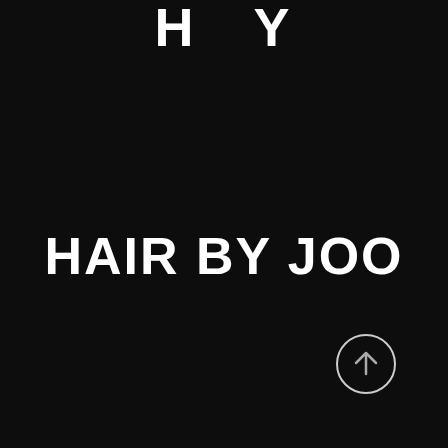H Y
HAIR BY JOO
[Figure (illustration): Circular scroll-to-top button with upward arrow, outlined in white on dark background]